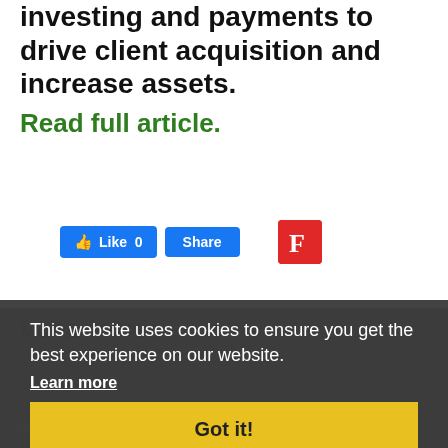investing and payments to drive client acquisition and increase assets.
Read full article.
[Figure (screenshot): Social sharing buttons: Facebook Like (0), Share, and Flipboard icon]
MORE TOPICS
This website uses cookies to ensure you get the best experience on our website.
Learn more
Got it!
[Figure (logo): Wilmington Delaware Office of Economic Development logo]